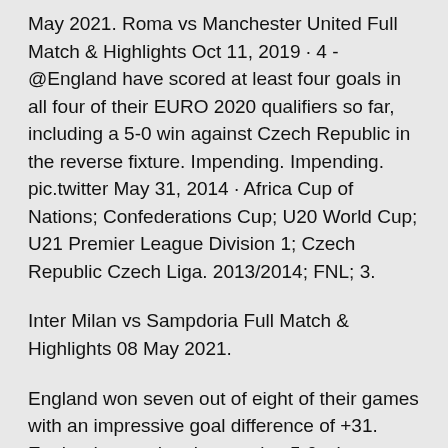May 2021. Roma vs Manchester United Full Match & Highlights Oct 11, 2019 · 4 - @England have scored at least four goals in all four of their EURO 2020 qualifiers so far, including a 5-0 win against Czech Republic in the reverse fixture. Impending. Impending. pic.twitter May 31, 2014 · Africa Cup of Nations; Confederations Cup; U20 World Cup; U21 Premier League Division 1; Czech Republic Czech Liga. 2013/2014; FNL; 3.
Inter Milan vs Sampdoria Full Match & Highlights 08 May 2021.
England won seven out of eight of their games with an impressive goal difference of +31. England earned an impressive 5-0 win over the Czech Republic, as Raheem Sterling netted three to give the home side the perfect start to the Euro 2020 qualif Oct 14, 2020 · Scotland -